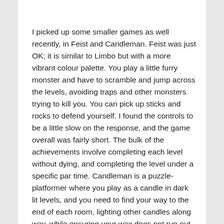I picked up some smaller games as well recently, in Feist and Candleman. Feist was just OK; it is similar to Limbo but with a more vibrant colour palette. You play a little furry monster and have to scramble and jump across the levels, avoiding traps and other monsters trying to kill you. You can pick up sticks and rocks to defend yourself. I found the controls to be a little slow on the response, and the game overall was fairly short. The bulk of the achievements involve completing each level without dying, and completing the level under a specific par time. Candleman is a puzzle-platformer where you play as a candle in dark lit levels, and you need to find your way to the end of each room, lighting other candles along way, while ensuring your wax does not run out. It is a gorgeous game with beautiful lighting effects. Easy, fun game, with easy, generous achievements.
In the co-op land, with Illestrader, we've wrapped up Gears of War 4 and are currently plugging away in Astroneer (Early Preview) and Borderlands The Pre-